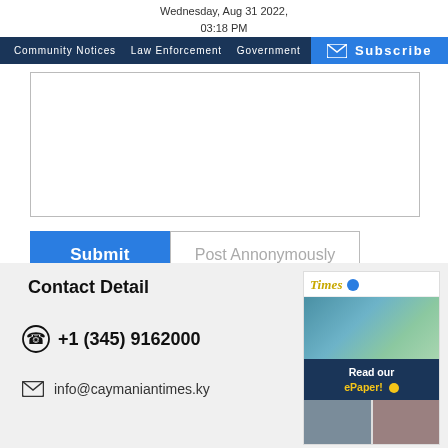Wednesday, Aug 31 2022, 03:18 PM
Community Notices   Law Enforcement   Government   Hurricane Watch   CO...
[Figure (screenshot): Subscribe button with envelope icon, blue background]
[Figure (screenshot): Large text area input field with border]
Submit
Post Annonymously
Contact Detail
+1 (345) 9162000
info@caymaniantimes.ky
[Figure (screenshot): Caymanian Times ePaper promotional image with Read our ePaper button]